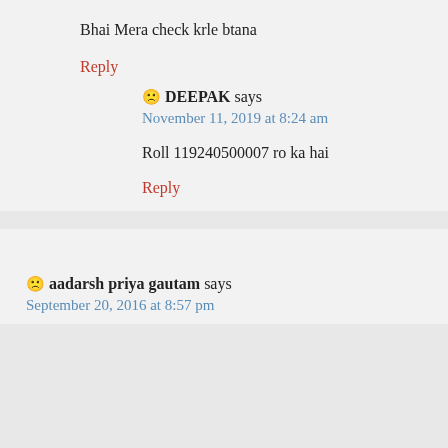Bhai Mera check krle btana
Reply
🙁 DEEPAK says
November 11, 2019 at 8:24 am
Roll 119240500007 ro ka hai
Reply
🙁 aadarsh priya gautam says
September 20, 2016 at 8:57 pm